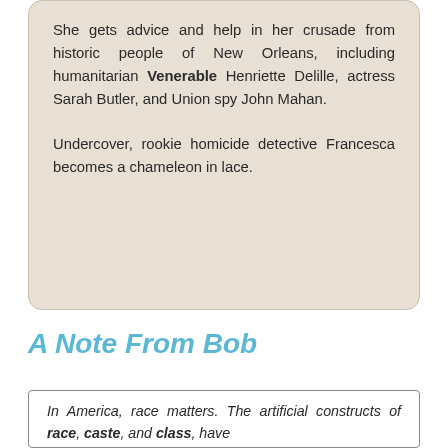She gets advice and help in her crusade from historic people of New Orleans, including humanitarian Venerable Henriette Delille, actress Sarah Butler, and Union spy John Mahan.

Undercover, rookie homicide detective Francesca becomes a chameleon in lace.
A Note From Bob
In America, race matters. The artificial constructs of race, caste, and class, have